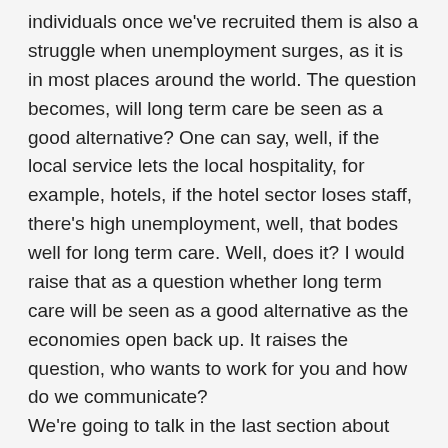individuals once we've recruited them is also a struggle when unemployment surges, as it is in most places around the world. The question becomes, will long term care be seen as a good alternative? One can say, well, if the local service lets the local hospitality, for example, hotels, if the hotel sector loses staff, there's high unemployment, well, that bodes well for long term care. Well, does it? I would raise that as a question whether long term care will be seen as a good alternative as the economies open back up. It raises the question, who wants to work for you and how do we communicate?
We're going to talk in the last section about how